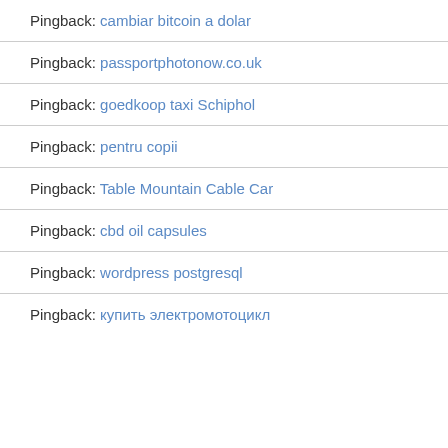Pingback: cambiar bitcoin a dolar
Pingback: passportphotonow.co.uk
Pingback: goedkoop taxi Schiphol
Pingback: pentru copii
Pingback: Table Mountain Cable Car
Pingback: cbd oil capsules
Pingback: wordpress postgresql
Pingback: купить электромотоцикл